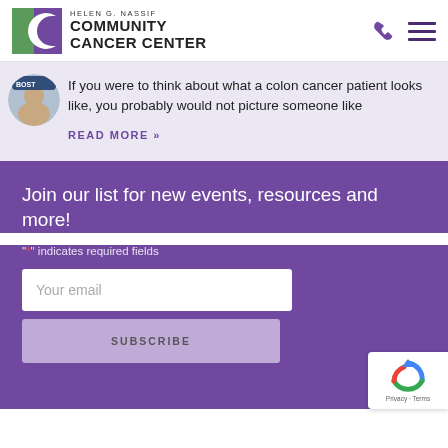[Figure (logo): Helen G. Nassif Community Cancer Center logo with green and purple square icon and text]
[Figure (photo): Small circular avatar photo of a person wearing a Boston cap]
If you were to think about what a colon cancer patient looks like, you probably would not picture someone like
READ MORE »
Join our list for new events, resources and more!
"*" indicates required fields
Your email
SUBSCRIBE